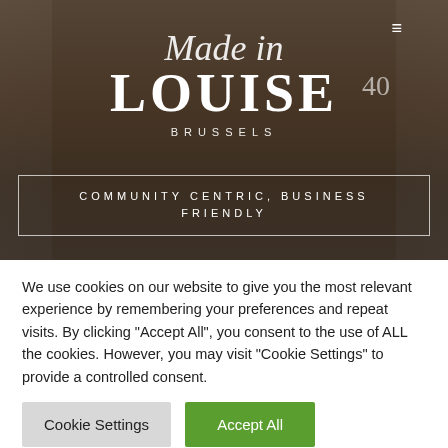[Figure (photo): Hotel facade photo for Made in Louise hotel in Brussels, showing the entrance with dark awning and the number 40 on the right side]
Made in LOUISE
BRUSSELS
COMMUNITY CENTRIC, BUSINESS FRIENDLY
We use cookies on our website to give you the most relevant experience by remembering your preferences and repeat visits. By clicking "Accept All", you consent to the use of ALL the cookies. However, you may visit "Cookie Settings" to provide a controlled consent.
Cookie Settings
Accept All